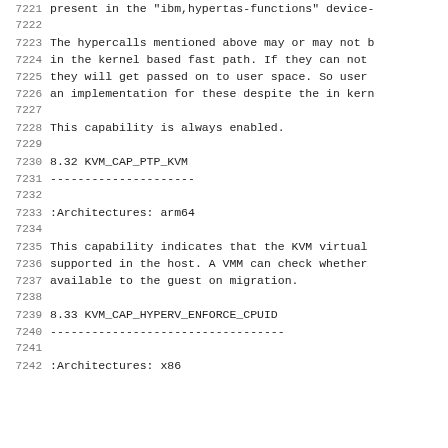present in the "ibm,hypertas-functions" device-
The hypercalls mentioned above may or may not b
in the kernel based fast path. If they can not
they will get passed on to user space. So user
an implementation for these despite the in kern
This capability is always enabled.
8.32 KVM_CAP_PTP_KVM
---------------------
:Architectures: arm64
This capability indicates that the KVM virtual
supported in the host. A VMM can check whether
available to the guest on migration.
8.33 KVM_CAP_HYPERV_ENFORCE_CPUID
----------------------------------
:Architectures: x86